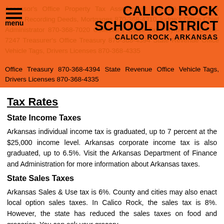Calico Rock School District — Calico Rock, Arkansas
Assessor's Office Property Tax Assessment 870-368-7010 Clerk's Office Recording Deeds, Mortgages 870-368-4310 Judge's Office Chief Administrator 870-368-7020 Collector's Office Tax Payment 870-368-7247 Treasurer's Office Treasury 870-368-4394 State Revenue Office Vehicle Tags, Drivers Licenses 870-368-4335
Tax Rates
State Income Taxes
Arkansas individual income tax is graduated, up to 7 percent at the $25,000 income level. Arkansas corporate income tax is also graduated, up to 6.5%. Visit the Arkansas Department of Finance and Administration for more information about Arkansas taxes.
State Sales Taxes
Arkansas Sales & Use tax is 6%. County and cities may also enact local option sales taxes. In Calico Rock, the sales tax is 8%. However, the state has reduced the sales taxes on food and groceries. You can ask your grocery